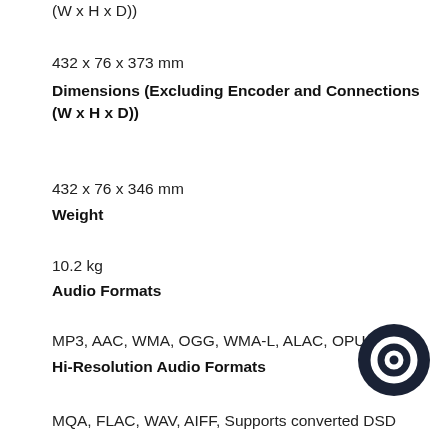(W x H x D))
432 x 76 x 373 mm
Dimensions (Excluding Encoder and Connections (W x H x D))
432 x 76 x 346 mm
Weight
10.2 kg
Audio Formats
MP3, AAC, WMA, OGG, WMA-L, ALAC, OPUS
Hi-Resolution Audio Formats
MQA, FLAC, WAV, AIFF, Supports converted DSD